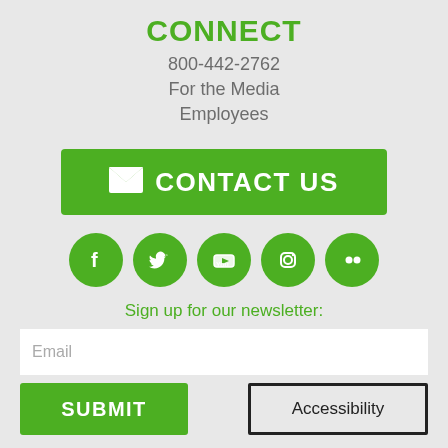CONNECT
800-442-2762
For the Media
Employees
[Figure (other): Green CONTACT US button with envelope icon]
[Figure (other): Row of 5 green social media icon circles: Facebook, Twitter, YouTube, Instagram, Flickr]
Sign up for our newsletter:
Email
SUBMIT
Accessibility